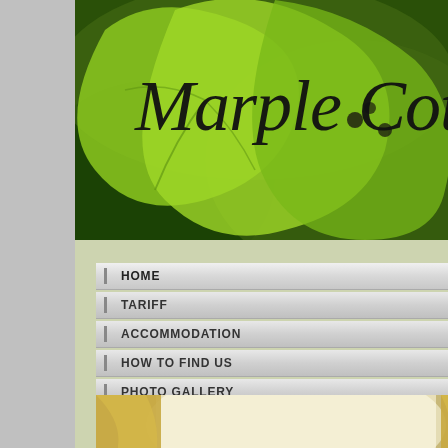[Figure (photo): Header photo of green vine leaves with cursive text 'Marple Cottag...' overlaid on top]
Marple Cottag...
HOME
TARIFF
ACCOMMODATION
HOW TO FIND US
PHOTO GALLERY
WIMBLEDON & LINKS
RESERVATIONS
Marple Cottage Gue... heart of Wimbledon, S...
[Figure (photo): Interior room photo showing warm golden curtains, chairs and a red vase]
[Figure (photo): Exterior photo of Marple Cottage guest house covered in ivy with white arch windows]